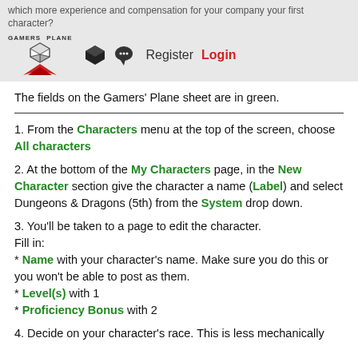GAMERS PLANE — Register Login navigation header
The fields on the Gamers' Plane sheet are in green.
1. From the Characters menu at the top of the screen, choose All characters
2. At the bottom of the My Characters page, in the New Character section give the character a name (Label) and select Dungeons & Dragons (5th) from the System drop down.
3. You'll be taken to a page to edit the character. Fill in:
* Name with your character's name. Make sure you do this or you won't be able to post as them.
* Level(s) with 1
* Proficiency Bonus with 2
4. Decide on your character's race. This is less mechanically